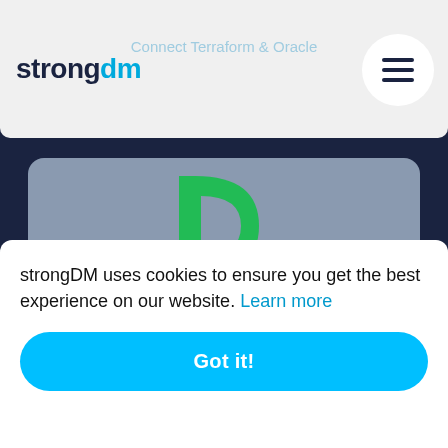Connect Terraform & Oracle
[Figure (logo): strongDM logo with 'strong' in dark navy and 'dm' in blue]
[Figure (illustration): PagerDuty logo - large green letter P with dot on grey rounded card]
Connect Terraform & PagerDuty
[Figure (illustration): Partially visible card with blue circular element at top]
strongDM uses cookies to ensure you get the best experience on our website. Learn more
Got it!